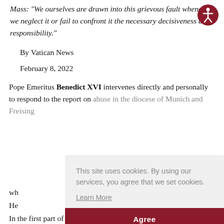Mass: "We ourselves are drawn into this grievous fault whenever we neglect it or fail to confront it the necessary decisiveness and responsibility."
[Figure (illustration): Accessibility icon: dark red circle with white stick figure person symbol]
By Vatican News
February 8, 2022
Pope Emeritus Benedict XVI intervenes directly and personally to respond to the report on abuse in the diocese of Munich and Freising wh... He... asp... an... ab...
This site uses cookies. By using our services, you agree that we set cookies. Learn More
Agree
In the first part of the letter, Ratzinger thanks...